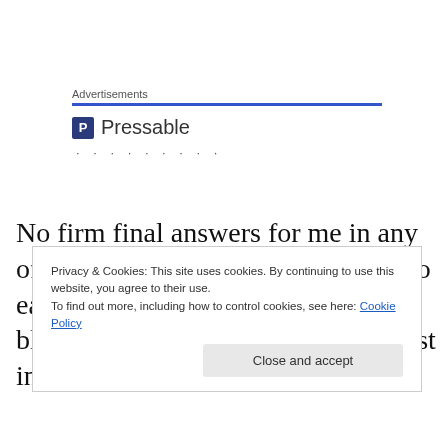Advertisements
[Figure (logo): Pressable logo with blue P icon and dotted loading indicator]
No firm final answers for me in any of that, of course.  That would be too easy, and besides it would echo the black-and-white thinking that I detest in fundamental religion.
Privacy & Cookies: This site uses cookies. By continuing to use this website, you agree to their use.
To find out more, including how to control cookies, see here: Cookie Policy
Close and accept